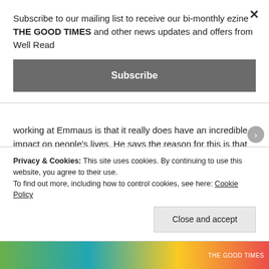Subscribe to our mailing list to receive our bi-monthly ezine THE GOOD TIMES and other news updates and offers from Well Read
Subscribe
working at Emmaus is that it really does have an incredible impact on people’s lives. He says the reason for this is that companions have a focus and structure to their day, rather than being in a system which focuses on people’s issues. He explained: “We do have quite strict rules – no drugs or alcohol, and everyone has to be up and ready for work at 8.45am, but giving people a meaningful role and restoring
Privacy & Cookies: This site uses cookies. By continuing to use this website, you agree to their use.
To find out more, including how to control cookies, see here: Cookie Policy
Close and accept